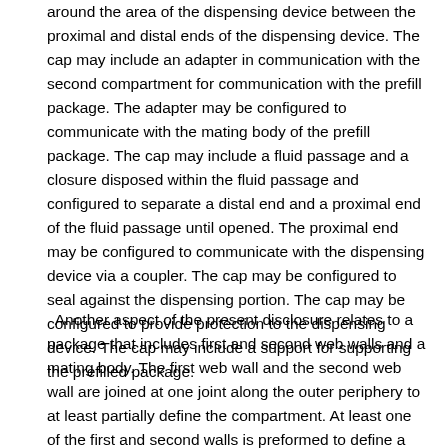around the area of the dispensing device between the proximal and distal ends of the dispensing device. The cap may include an adapter in communication with the second compartment for communication with the prefill package. The adapter may be configured to communicate with the mating body of the prefill package. The cap may include a fluid passage and a closure disposed within the fluid passage and configured to separate a distal end and a proximal end of the fluid passage until opened. The proximal end may be configured to communicate with the dispensing device via a coupler. The cap may be configured to seal against the dispensing portion. The cap may be configured to provide protection to the dispensing device. The cap may include a support for supporting the prefilled package.
Another aspect of the present disclosure relates to a package that includes first and second web walls and a mating body. The first web wall and the second web wall are joined at one joint along the outer periphery to at least partially define the compartment. At least one of the first and second walls is preformed to define a cavity in the compartment. At least one first portion of the joint forms a